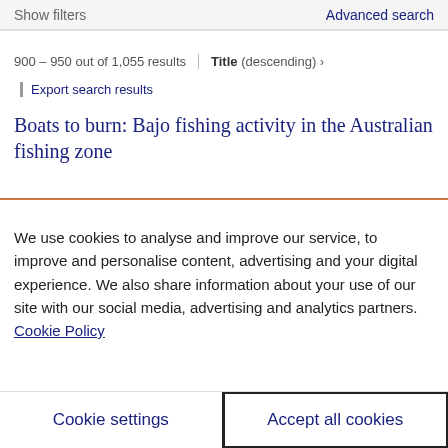Show filters   Advanced search
900 – 950 out of 1,055 results   Title (descending) ›
Export search results
Boats to burn: Bajo fishing activity in the Australian fishing zone
We use cookies to analyse and improve our service, to improve and personalise content, advertising and your digital experience. We also share information about your use of our site with our social media, advertising and analytics partners.  Cookie Policy
Cookie settings   Accept all cookies